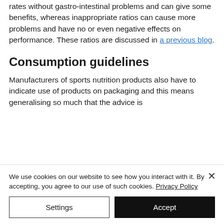rates without gastro-intestinal problems and can give some benefits, whereas inappropriate ratios can cause more problems and have no or even negative effects on performance. These ratios are discussed in a previous blog.
Consumption guidelines
Manufacturers of sports nutrition products also have to indicate use of products on packaging and this means generalising so much that the advice is
We use cookies on our website to see how you interact with it. By accepting, you agree to our use of such cookies. Privacy Policy